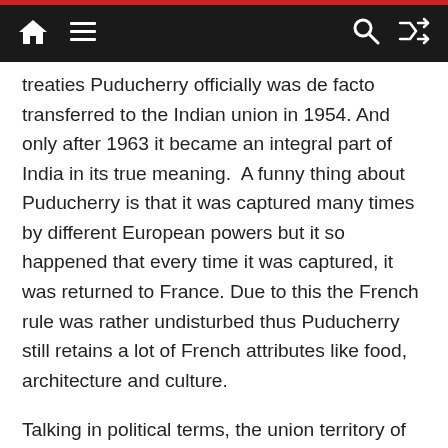Navigation bar with home, menu, search, and shuffle icons
treaties Puducherry officially was de facto transferred to the Indian union in 1954. And only after 1963 it became an integral part of India in its true meaning.  A funny thing about Puducherry is that it was captured many times by different European powers but it so happened that every time it was captured, it was returned to France. Due to this the French rule was rather undisturbed thus Puducherry still retains a lot of French attributes like food, architecture and culture.
Talking in political terms, the union territory of Puducherry consists of four districts – Puducherry, Karaikal and Yanam on the way of Bengaland Mahe on the Arabian Sea. This unique geography is a legacy of the French colonial period which had these distributed areas under its influence for a long time